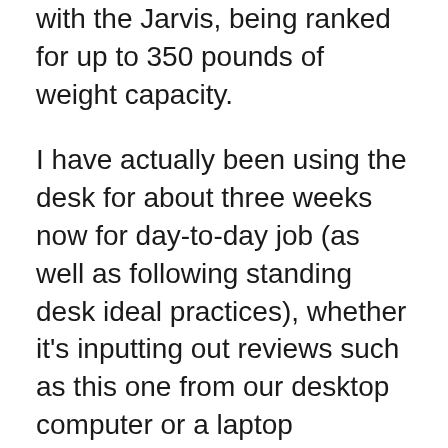with the Jarvis, being ranked for up to 350 pounds of weight capacity.
I have actually been using the desk for about three weeks now for day-to-day job (as well as following standing desk ideal practices), whether it's inputting out reviews such as this one from our desktop computer or a laptop computer every so often. The desk stands up well versus non-coastered beverages, as well as the finish in addition to the desk still really feels just as smooth and also glossy as the day I opened it regardless of days of perspiring wrists wresting on it as well as several clean downs with a rag.
I never intentionally try to damage any desks too hard, during some lighter examinations